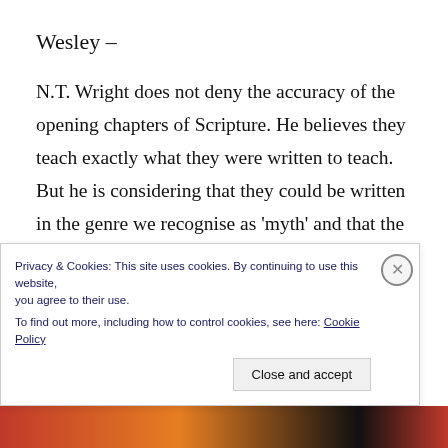Wesley –
N.T. Wright does not deny the accuracy of the opening chapters of Scripture. He believes they teach exactly what they were written to teach. But he is considering that they could be written in the genre we recognise as 'myth' and that the account is not a literal, historical record. By myth, no one means they
Privacy & Cookies: This site uses cookies. By continuing to use this website, you agree to their use.
To find out more, including how to control cookies, see here: Cookie Policy
Close and accept